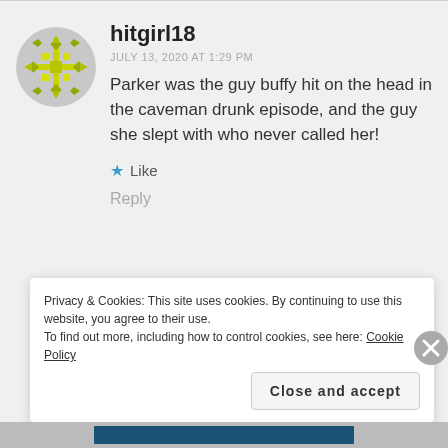[Figure (illustration): Green/yellow snowflake-pattern avatar icon for user hitgirl18]
hitgirl18
JULY 13, 2020 AT 1:29 PM
Parker was the guy buffy hit on the head in the caveman drunk episode, and the guy she slept with who never called her!
★ Like
Reply
Privacy & Cookies: This site uses cookies. By continuing to use this website, you agree to their use.
To find out more, including how to control cookies, see here: Cookie Policy
Close and accept